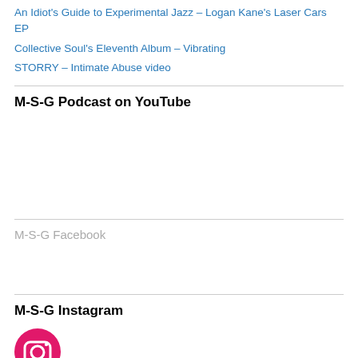An Idiot's Guide to Experimental Jazz – Logan Kane's Laser Cars EP
Collective Soul's Eleventh Album – Vibrating
STORRY – Intimate Abuse video
M-S-G Podcast on YouTube
M-S-G Facebook
M-S-G Instagram
[Figure (logo): Instagram logo icon – pink/magenta circle with camera outline in white]